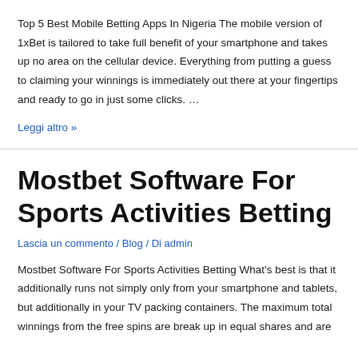Top 5 Best Mobile Betting Apps In Nigeria The mobile version of 1xBet is tailored to take full benefit of your smartphone and takes up no area on the cellular device. Everything from putting a guess to claiming your winnings is immediately out there at your fingertips and ready to go in just some clicks. …
Leggi altro »
Mostbet Software For Sports Activities Betting
Lascia un commento / Blog / Di admin
Mostbet Software For Sports Activities Betting What's best is that it additionally runs not simply only from your smartphone and tablets, but additionally in your TV packing containers. The maximum total winnings from the free spins are break up in equal shares and are